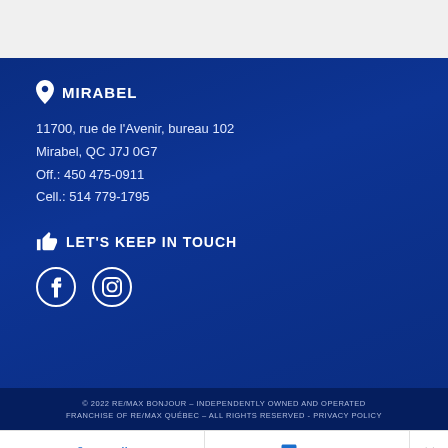MIRABEL
11700, rue de l'Avenir, bureau 102
Mirabel, QC J7J 0G7
Off.: 450 475-0911
Cell.: 514 779-1795
LET'S KEEP IN TOUCH
[Figure (logo): Facebook and Instagram social media icons in white circles]
© 2022 RE/MAX BONJOUR – INDEPENDENTLY OWNED AND OPERATED FRANCHISE OF RE/MAX QUÉBEC – ALL RIGHTS RESERVED - PRIVACY POLICY
Call  Text